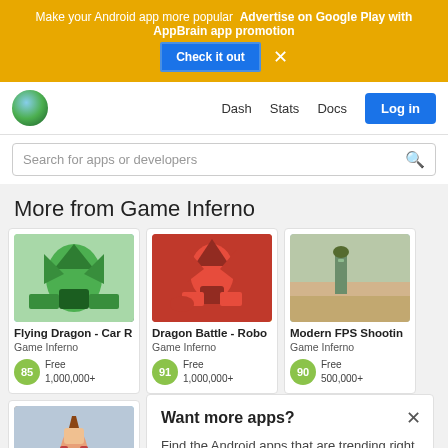[Figure (screenshot): AppBrain advertisement banner with yellow background: 'Make your Android app more popular Advertise on Google Play with AppBrain app promotion' with a 'Check it out' blue button and X close button]
Dash  Stats  Docs  Log in
Search for apps or developers
More from Game Inferno
[Figure (illustration): Flying Dragon - Car Robot game icon showing green robot/dragon transformers]
Flying Dragon - Car R
Game Inferno
85  Free  1,000,000+
[Figure (illustration): Dragon Battle - Robot game icon showing red dragon/robot transformer]
Dragon Battle - Robo
Game Inferno
91  Free  1,000,000+
[Figure (illustration): Modern FPS Shooting game icon showing soldier in desert]
Modern FPS Shootin
Game Inferno
90  Free  500,000+
[Figure (illustration): Female soldier game app icon]
Want more apps?
Find the Android apps that are trending right now